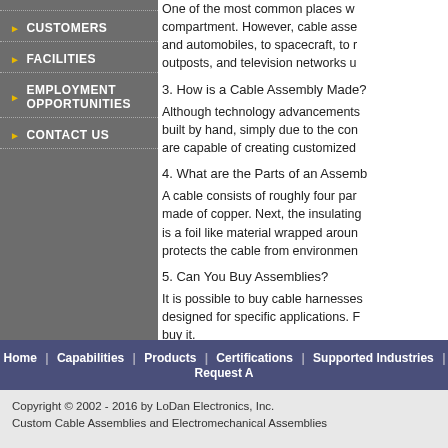CUSTOMERS
FACILITIES
EMPLOYMENT OPPORTUNITIES
CONTACT US
One of the most common places w... compartment. However, cable asse... and automobiles, to spacecraft, to r... outposts, and television networks u...
3. How is a Cable Assembly Made?
Although technology advancements... built by hand, simply due to the co... are capable of creating customized...
4. What are the Parts of an Assemb...
A cable consists of roughly four par... made of copper. Next, the insulating... is a foil like material wrapped aroun... protects the cable from environmen...
5. Can You Buy Assemblies?
It is possible to buy cable harnesses... designed for specific applications. R... buy it.
If you are in need of something mor... professional about ordering a custo...
Home | Capabilities | Products | Certifications | Supported Industries | Request A
Copyright © 2002 - 2016 by LoDan Electronics, Inc.
Custom Cable Assemblies and Electromechanical Assemblies